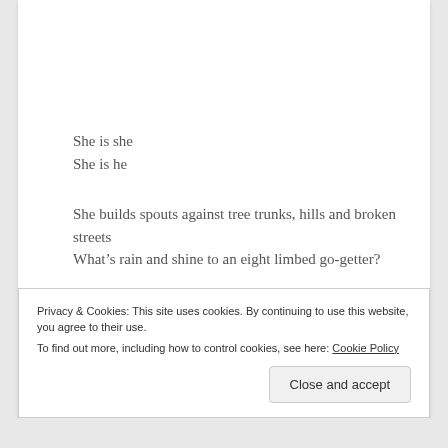She is she
She is he
She builds spouts against tree trunks, hills and broken streets
What’s rain and shine to an eight limbed go-getter?
She leads her blind mice with no butchers knife in sight
Have you ever seen such a thing in your life as three winged
Privacy & Cookies: This site uses cookies. By continuing to use this website, you agree to their use.
To find out more, including how to control cookies, see here: Cookie Policy
Close and accept